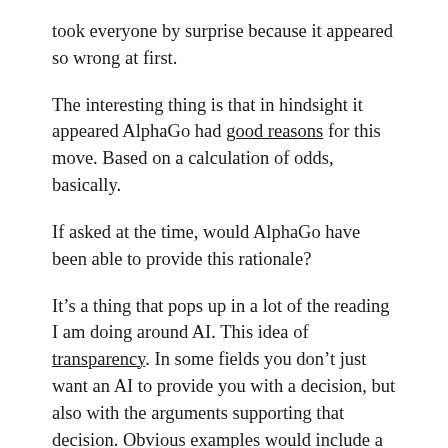took everyone by surprise because it appeared so wrong at first.
The interesting thing is that in hindsight it appeared AlphaGo had good reasons for this move. Based on a calculation of odds, basically.
If asked at the time, would AlphaGo have been able to provide this rationale?
It’s a thing that pops up in a lot of the reading I am doing around AI. This idea of transparency. In some fields you don’t just want an AI to provide you with a decision, but also with the arguments supporting that decision. Obvious examples would include a system that helps diagnose disease. You want it to provide more than just the diagnosis. Because if it turns out to be wrong, you want to be able to say why at the time you thought it was right. This is a